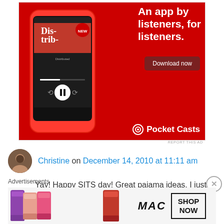[Figure (photo): Pocket Casts advertisement banner on red background showing a smartphone with 'Dis-trib-uted' podcast episode. Text reads 'An app by listeners, for listeners.' with a 'Download now' button and Pocket Casts logo.]
REPORT THIS AD
Christine on December 14, 2010 at 11:11 am
Yay! Happy SITS day! Great pajama ideas, I just love them. But as usual, your explanation about
Advertisements
[Figure (photo): MAC cosmetics advertisement showing colorful lipsticks (purple, pink, red) with MAC logo and 'SHOP NOW' button]